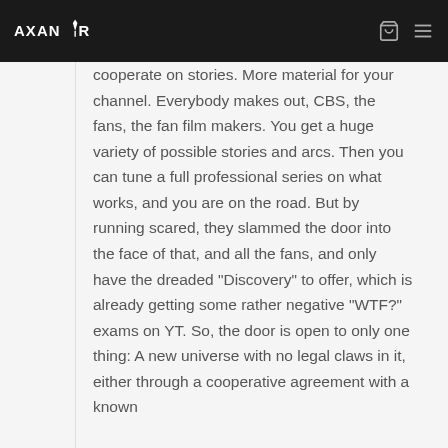AXANR (logo header navigation)
cooperate on stories. More material for your channel. Everybody makes out, CBS, the fans, the fan film makers. You get a huge variety of possible stories and arcs. Then you can tune a full professional series on what works, and you are on the road. But by running scared, they slammed the door into the face of that, and all the fans, and only have the dreaded “Discovery” to offer, which is already getting some rather negative “WTF?” exams on YT. So, the door is open to only one thing: A new universe with no legal claws in it, either through a cooperative agreement with a known